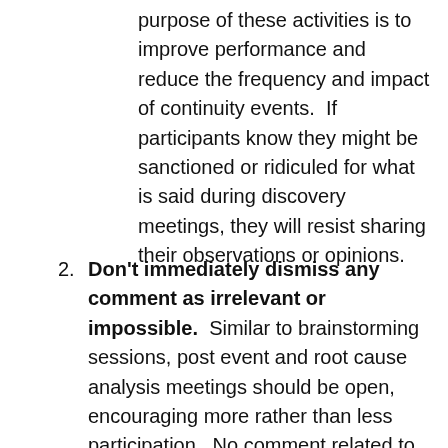purpose of these activities is to improve performance and reduce the frequency and impact of continuity events.  If participants know they might be sanctioned or ridiculed for what is said during discovery meetings, they will resist sharing their observations or opinions.
2. Don't immediately dismiss any comment as irrelevant or impossible.  Similar to brainstorming sessions, post event and root cause analysis meetings should be open, encouraging more rather than less participation.  No comment related to the topic discussed should be dismissed until viewed within the context of all other